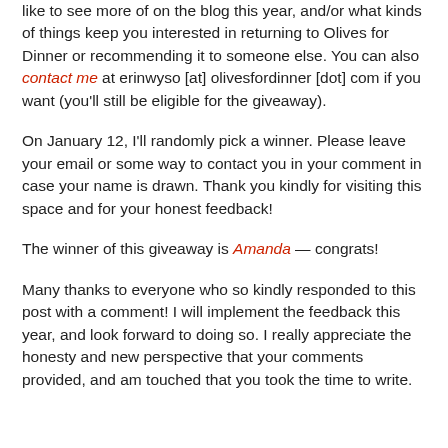like to see more of on the blog this year, and/or what kinds of things keep you interested in returning to Olives for Dinner or recommending it to someone else. You can also contact me at erinwyso [at] olivesfordinner [dot] com if you want (you'll still be eligible for the giveaway).
On January 12, I'll randomly pick a winner. Please leave your email or some way to contact you in your comment in case your name is drawn. Thank you kindly for visiting this space and for your honest feedback!
The winner of this giveaway is Amanda — congrats!
Many thanks to everyone who so kindly responded to this post with a comment! I will implement the feedback this year, and look forward to doing so. I really appreciate the honesty and new perspective that your comments provided, and am touched that you took the time to write.